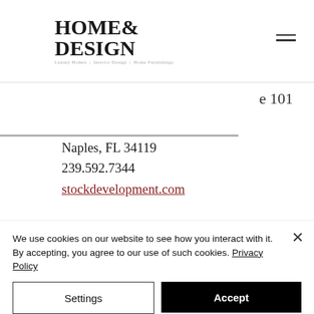HOME& DESIGN — Luxury Homes | Interior Design | Home Furnishings
e 101
Naples, FL 34119
239.592.7344
stockdevelopment.com
Resources:
Andersen Windows
100 4th Avenue
Bayport, MN 55003
800.426.4261
We use cookies on our website to see how you interact with it. By accepting, you agree to our use of such cookies. Privacy Policy